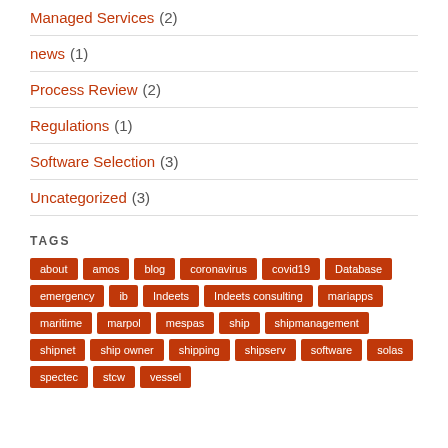Managed Services (2)
news (1)
Process Review (2)
Regulations (1)
Software Selection (3)
Uncategorized (3)
TAGS
about amos blog coronavirus covid19 Database emergency ib Indeets Indeets consulting mariapps maritime marpol mespas ship shipmanagement shipnet ship owner shipping shipserv software solas spectec stcw vessel